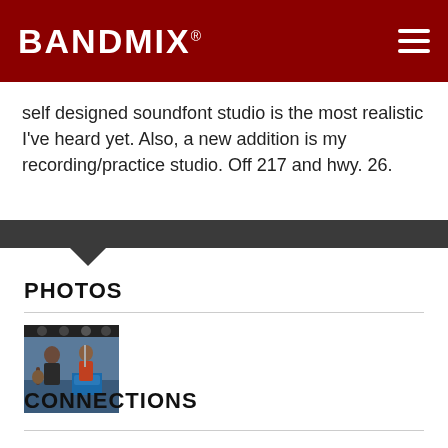BANDMIX®
self designed soundfont studio is the most realistic I've heard yet. Also, a new addition is my recording/practice studio. Off 217 and hwy. 26.
PHOTOS
[Figure (photo): Two musicians performing on stage, one playing guitar on the left and another on the right, with stage lighting equipment visible above.]
CONNECTIONS